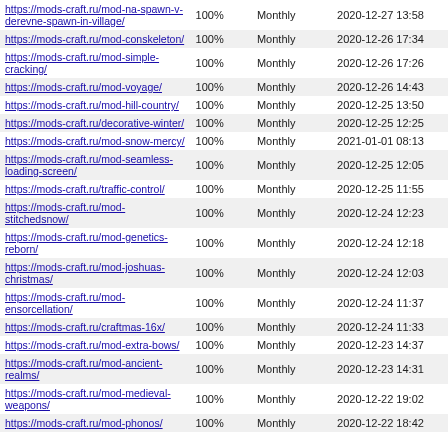| URL | Priority | Frequency | Last Modified |
| --- | --- | --- | --- |
| https://mods-craft.ru/mod-na-spawn-v-derevne-spawn-in-village/ | 100% | Monthly | 2020-12-27 13:58 |
| https://mods-craft.ru/mod-conskeleton/ | 100% | Monthly | 2020-12-26 17:34 |
| https://mods-craft.ru/mod-simple-cracking/ | 100% | Monthly | 2020-12-26 17:26 |
| https://mods-craft.ru/mod-voyage/ | 100% | Monthly | 2020-12-26 14:43 |
| https://mods-craft.ru/mod-hill-country/ | 100% | Monthly | 2020-12-25 13:50 |
| https://mods-craft.ru/decorative-winter/ | 100% | Monthly | 2020-12-25 12:25 |
| https://mods-craft.ru/mod-snow-mercy/ | 100% | Monthly | 2021-01-01 08:13 |
| https://mods-craft.ru/mod-seamless-loading-screen/ | 100% | Monthly | 2020-12-25 12:05 |
| https://mods-craft.ru/traffic-control/ | 100% | Monthly | 2020-12-25 11:55 |
| https://mods-craft.ru/mod-stitchedsnow/ | 100% | Monthly | 2020-12-24 12:23 |
| https://mods-craft.ru/mod-genetics-reborn/ | 100% | Monthly | 2020-12-24 12:18 |
| https://mods-craft.ru/mod-joshuas-christmas/ | 100% | Monthly | 2020-12-24 12:03 |
| https://mods-craft.ru/mod-ensorcellation/ | 100% | Monthly | 2020-12-24 11:37 |
| https://mods-craft.ru/craftmas-16x/ | 100% | Monthly | 2020-12-24 11:33 |
| https://mods-craft.ru/mod-extra-bows/ | 100% | Monthly | 2020-12-23 14:37 |
| https://mods-craft.ru/mod-ancient-realms/ | 100% | Monthly | 2020-12-23 14:31 |
| https://mods-craft.ru/mod-medieval-weapons/ | 100% | Monthly | 2020-12-22 19:02 |
| https://mods-craft.ru/mod-phonos/ | 100% | Monthly | 2020-12-22 18:42 |